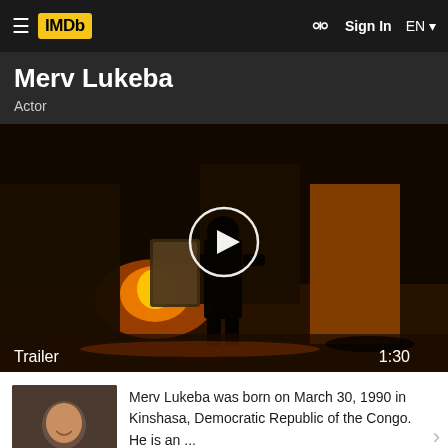IMDb  Sign In  EN
Merv Lukeba
Actor
[Figure (screenshot): Movie trailer thumbnail showing a dark silhouetted figure holding a large object, with orange fire/light in the background. A white circular play button is overlaid in the center. Bottom-left shows 'Trailer' and bottom-right shows '1:30'.]
Merv Lukeba was born on March 30, 1990 in Kinshasa, Democratic Republic of the Congo. He is an ...